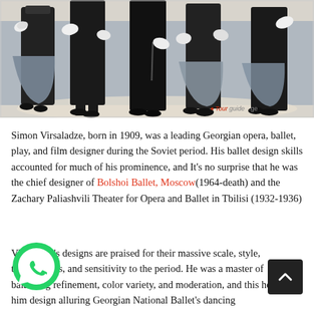[Figure (illustration): A painting/illustration showing several figures in dark costumes on a grey-blue background, depicted from roughly waist down, in a theatrical or ballet style. A 'tourguide.ge' watermark appears in the lower right.]
Simon Virsaladze, born in 1909, was a leading Georgian opera, ballet, play, and film designer during the Soviet period. His ballet design skills accounted for much of his prominence, and It's no surprise that he was the chief designer of Bolshoi Ballet, Moscow(1964-death) and the Zachary Paliashvili Theater for Opera and Ballet in Tbilisi (1932-1936)
Virsaladze's designs are praised for their massive scale, style, tastefulness, and sensitivity to the period. He was a master of balancing refinement, color variety, and moderation, and this helped him design alluring Georgian National Ballet's dancing